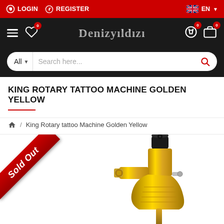LOGIN  REGISTER  EN
[Figure (screenshot): E-commerce website navigation bar with Denizyildizi logo, hamburger menu, wishlist icon, search bar with 'All' category dropdown and 'Search here...' placeholder, and cart icons.]
KING ROTARY TATTOO MACHINE GOLDEN YELLOW
King Rotary tattoo Machine Golden Yellow
[Figure (photo): King Rotary tattoo machine in golden yellow color with black top component, showing rotary mechanism. A 'Sold Out' red diagonal ribbon banner overlays the top-left corner of the product image.]